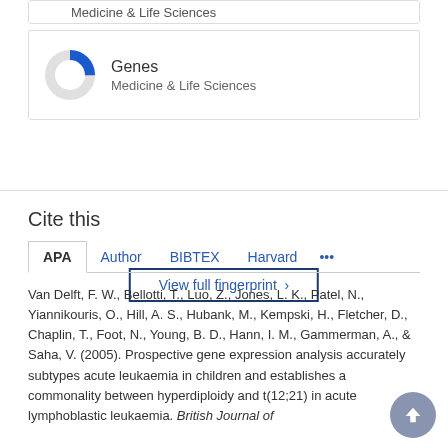Medicine & Life Sciences
[Figure (donut-chart): Donut chart showing partial fill in blue (approximately 25%) for Genes category in Medicine & Life Sciences]
Genes
Medicine & Life Sciences
View full fingerprint ›
Cite this
APA   Author   BIBTEX   Harvard   •••
Van Delft, F. W., Bellotti, T., Luo, Z., Jones, L. K., Patel, N., Yiannikouris, O., Hill, A. S., Hubank, M., Kempski, H., Fletcher, D., Chaplin, T., Foot, N., Young, B. D., Hann, I. M., Gammerman, A., & Saha, V. (2005). Prospective gene expression analysis accurately subtypes acute leukaemia in children and establishes a commonality between hyperdiploidy and t(12;21) in acute lymphoblastic leukaemia. British Journal of